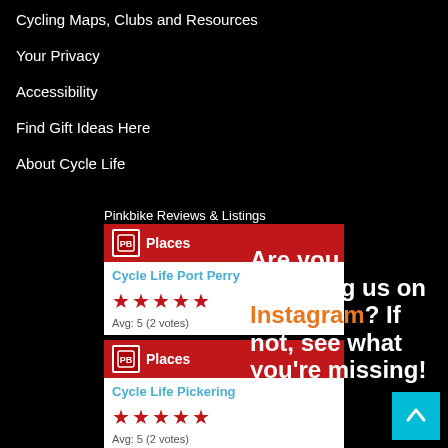Cycling Maps, Clubs and Resources
Your Privacy
Accessibility
Find Gift Ideas Here
About Cycle Life
Pinkbike Reviews & Listings
[Figure (screenshot): Pinkbike Places widget showing Cycle Life Port Perry with 5 star rating, Avg: 5 (2 votes)]
[Figure (screenshot): Pinkbike Places widget showing Cycle Life Pickering with 5 star rating, Avg: 5 (2 votes)]
Are you following us on Instagram? If not, see what you're missing!